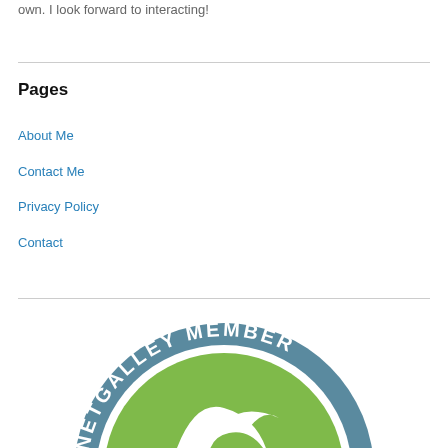own. I look forward to interacting!
Pages
About Me
Contact Me
Privacy Policy
Contact
[Figure (logo): NetGalley Member badge — circular badge with teal border, green inner circle, white bird logo, and text NETGALLEY MEMBER around the top arc]